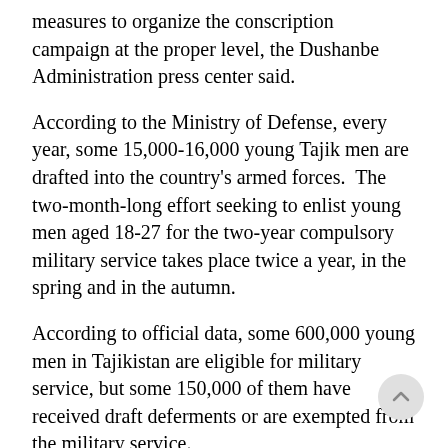measures to organize the conscription campaign at the proper level, the Dushanbe Administration press center said.
According to the Ministry of Defense, every year, some 15,000-16,000 young Tajik men are drafted into the country's armed forces. The two-month-long effort seeking to enlist young men aged 18-27 for the two-year compulsory military service takes place twice a year, in the spring and in the autumn.
According to official data, some 600,000 young men in Tajikistan are eligible for military service, but some 150,000 of them have received draft deferments or are exempted from the military service.
Young Tajiks can avoid or postpone military service if they are ill, studying at university, an only son, or if they have two children.
Tajikistan's armed forces consist of Ground Forces, Mobile Forces, — one of the armed forces of Tajikistan. Н…